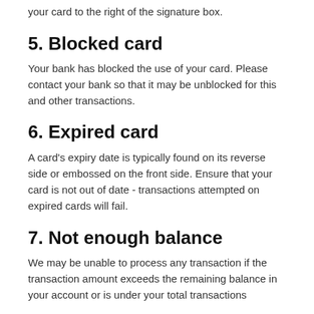your card to the right of the signature box.
5. Blocked card
Your bank has blocked the use of your card. Please contact your bank so that it may be unblocked for this and other transactions.
6. Expired card
A card's expiry date is typically found on its reverse side or embossed on the front side. Ensure that your card is not out of date - transactions attempted on expired cards will fail.
7. Not enough balance
We may be unable to process any transaction if the transaction amount exceeds the remaining balance in your account or is under your total transactions